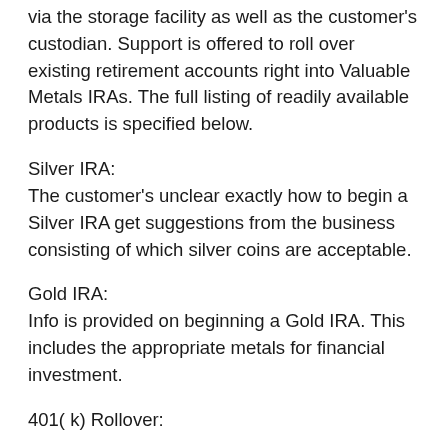via the storage facility as well as the customer's custodian. Support is offered to roll over existing retirement accounts right into Valuable Metals IRAs. The full listing of readily available products is specified below.
Silver IRA:
The customer's unclear exactly how to begin a Silver IRA get suggestions from the business consisting of which silver coins are acceptable.
Gold IRA:
Info is provided on beginning a Gold IRA. This includes the appropriate metals for financial investment.
401( k) Rollover: